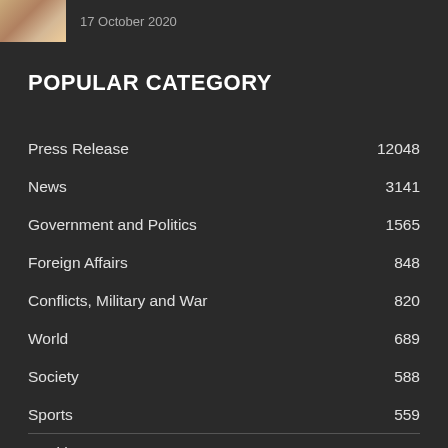[Figure (photo): Small thumbnail photo of a person, partially cropped]
17 October 2020
POPULAR CATEGORY
Press Release   12048
News   3141
Government and Politics   1565
Foreign Affairs   848
Conflicts, Military and War   820
World   689
Society   588
Sports   559
Health   556